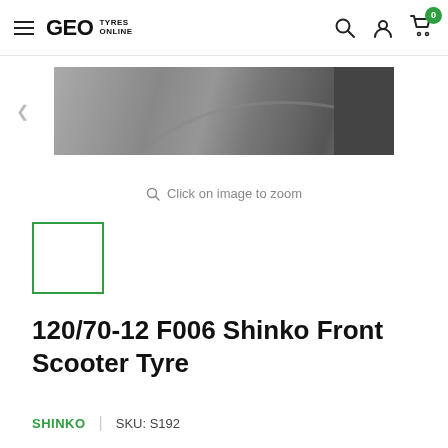GEO TYRES ONLINE — navigation bar with search, account, and cart icons
[Figure (photo): Partial product image of a scooter tyre shown in grayscale, cropped strip view]
Click on image to zoom
[Figure (photo): Small thumbnail preview box with green border (selected state), white interior]
120/70-12 F006 Shinko Front Scooter Tyre
SHINKO  |  SKU: S192